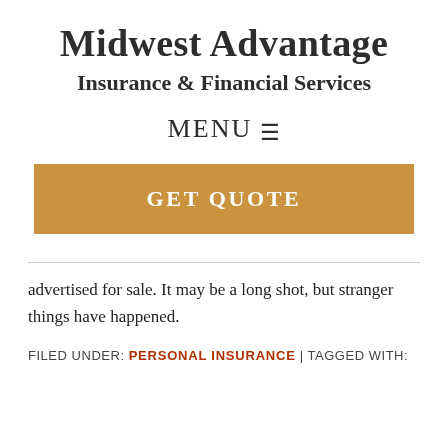Midwest Advantage
Insurance & Financial Services
MENU ☰
[Figure (other): Golden/tan GET QUOTE button banner]
advertised for sale. It may be a long shot, but stranger things have happened.
FILED UNDER: PERSONAL INSURANCE | TAGGED WITH: